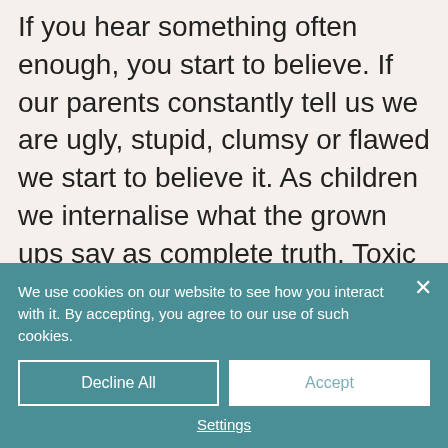If you hear something often enough, you start to believe. If our parents constantly tell us we are ugly, stupid, clumsy or flawed we start to believe it. As children we internalise what the grown ups say as complete truth. Toxic shame can also be created by parental neglect or rejection.
It is a real case of “well if my parents don’t love me, I must be awful” These internalised beliefs
We use cookies on our website to see how you interact with it. By accepting, you agree to our use of such cookies.
Decline All
Accept
Settings